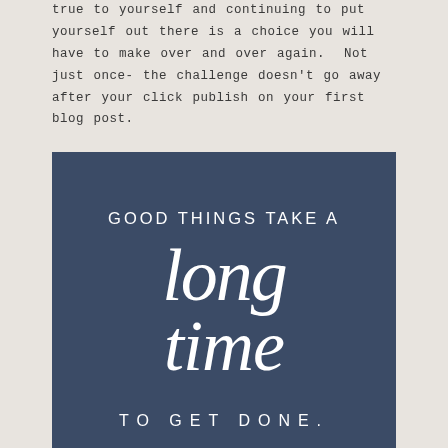true to yourself and continuing to put yourself out there is a choice you will have to make over and over again.  Not just once- the challenge doesn't go away after your click publish on your first blog post.
[Figure (illustration): Dark navy blue background with hand-lettered white text reading 'GOOD THINGS TAKE A long time TO GET DONE.' in a mix of printed uppercase and cursive script lettering.]